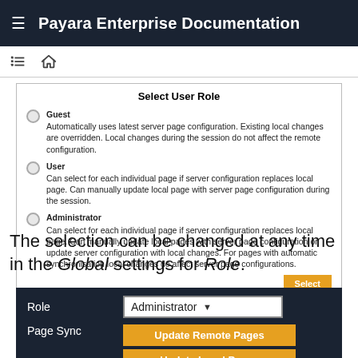Payara Enterprise Documentation
Select User Role
Guest
Automatically uses latest server page configuration. Existing local changes are overridden. Local changes during the session do not affect the remote configuration.
User
Can select for each individual page if server configuration replaces local page. Can manually update local page with server page configuration during the session.
Administrator
Can select for each individual page if server configuration replaces local page. Can manually update local pages with server page configuration or update server configuration with local changes. For pages with automatic synchronisation local changes do affect server page configurations.
The selection can be changed at any time in the Global settings for Role.
[Figure (screenshot): Settings panel showing Role dropdown set to Administrator, and Page Sync buttons: Update Remote Pages, Update Local Pages]